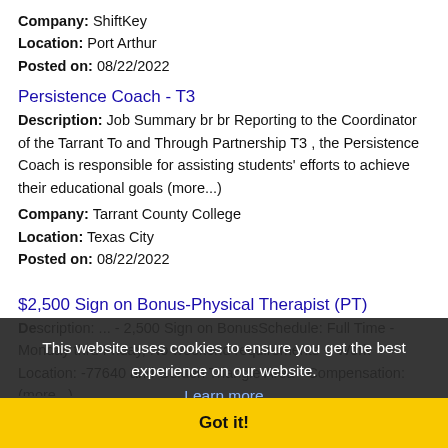Company: ShiftKey
Location: Port Arthur
Posted on: 08/22/2022
Persistence Coach - T3
Description: Job Summary br br Reporting to the Coordinator of the Tarrant To and Through Partnership T3 , the Persistence Coach is responsible for assisting students' efforts to achieve their educational goals (more...)
Company: Tarrant County College
Location: Texas City
Posted on: 08/22/2022
$2,500 Sign on Bonus-Physical Therapist (PT)
Description: ... - 2,500 Sign on BonusSchedule: Full Time - Monday thru Friday, No weekend requirements - -Work Location: -77640 and Golden Triangle Area - Compensation: (more...)
Company: Aveanna Healthcare
Location: Port Arthur
Posted on: 08/22/2022
This website uses cookies to ensure you get the best experience on our website.
Learn more
Got it!
Physical Therapist PDM
Description: Location: The Medical Center of Southeast